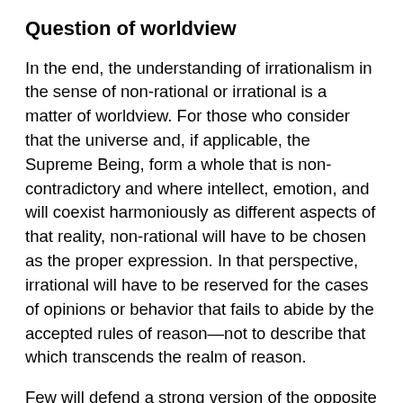Question of worldview
In the end, the understanding of irrationalism in the sense of non-rational or irrational is a matter of worldview. For those who consider that the universe and, if applicable, the Supreme Being, form a whole that is non-contradictory and where intellect, emotion, and will coexist harmoniously as different aspects of that reality, non-rational will have to be chosen as the proper expression. In that perspective, irrational will have to be reserved for the cases of opinions or behavior that fails to abide by the accepted rules of reason—not to describe that which transcends the realm of reason.
Few will defend a strong version of the opposite position that contradiction lies at the heart of everything. Such a position would make any discourse impossible, including that of those who hold this position. But various thinkers have emphasized the paradoxical nature of reality. In such